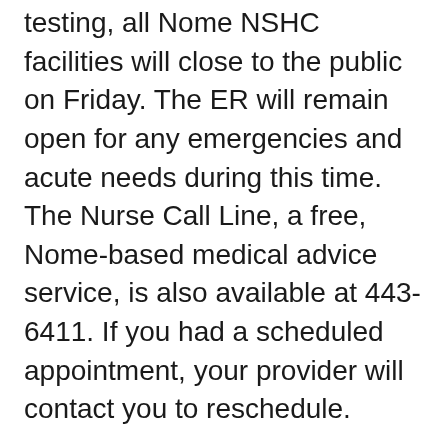testing, all Nome NSHC facilities will close to the public on Friday. The ER will remain open for any emergencies and acute needs during this time. The Nurse Call Line, a free, Nome-based medical advice service, is also available at 443-6411. If you had a scheduled appointment, your provider will contact you to reschedule.
NSHC continues to work through its incident command structure to develop accessible information and testing availability for the region's residents